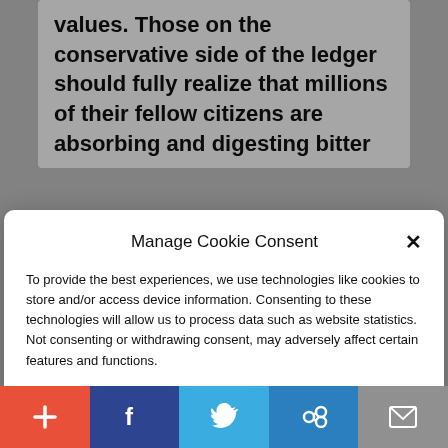values. Those on the conservative side of the ledger should fully realize that millions of their fellow citizens are absorbing and digesting bitter
Manage Cookie Consent
To provide the best experiences, we use technologies like cookies to store and/or access device information. Consenting to these technologies will allow us to process data such as website statistics. Not consenting or withdrawing consent, may adversely affect certain features and functions.
Accept
Cookie Policy  Privacy Policy